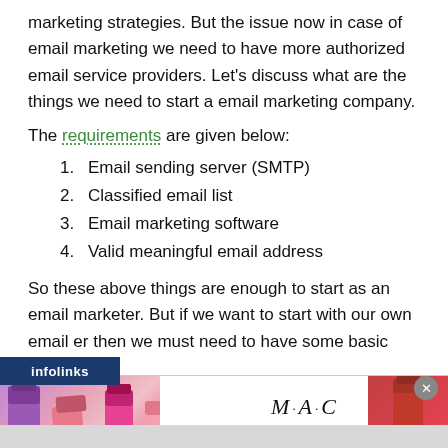marketing strategies. But the issue now in case of email marketing we need to have more authorized email service providers. Let’s discuss what are the things we need to start a email marketing company.
The requirements are given below:
1. Email sending server (SMTP)
2. Classified email list
3. Email marketing software
4. Valid meaningful email address
So these above things are enough to start as an email marketer. But if we want to start with our own email er then we must need to have some basic email
[Figure (photo): MAC cosmetics advertisement banner showing lipsticks on the left and right sides, MAC logo in the center, and a SHOP NOW button. An infolinks label appears at the top left of the ad. A close button (x) appears at the top right.]